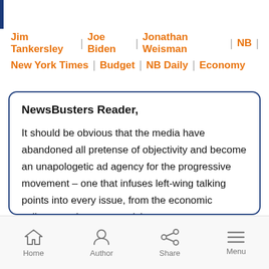Jim Tankersley | Joe Biden | Jonathan Weisman | NB | New York Times | Budget | NB Daily | Economy
NewsBusters Reader,

It should be obvious that the media have abandoned all pretense of objectivity and become an unapologetic ad agency for the progressive movement – one that infuses left-wing talking points into every issue, from the economic collapse to the energy crisis.
Home | Author | Share | Menu